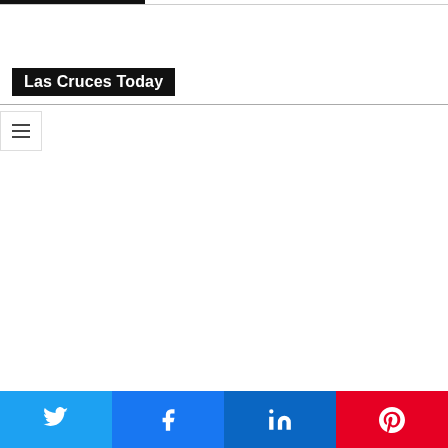Las Cruces Today
Twitter, Facebook, LinkedIn, Pinterest share buttons